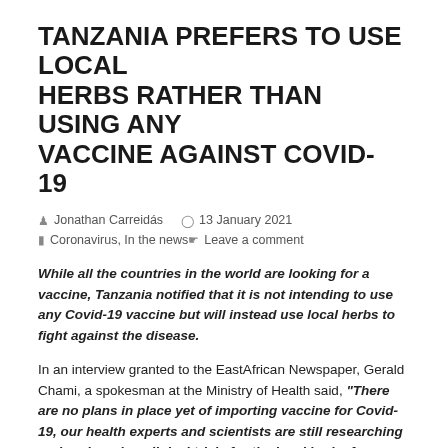TANZANIA PREFERS TO USE LOCAL HERBS RATHER THAN USING ANY VACCINE AGAINST COVID-19
Jonathan Careidas   13 January 2021
Coronavirus, In the news   Leave a comment
While all the countries in the world are looking for a vaccine, Tanzania notified that it is not intending to use any Covid-19 vaccine but will instead use local herbs to fight against the disease.
In an interview granted to the EastAfrican Newspaper, Gerald Chami, a spokesman at the Ministry of Health said, “There are no plans in place yet of importing vaccine for Covid-19, our health experts and scientists are still researching and undergoing clinical trials for the local herbs for covid-19.”
Chami put doubt on the efficacy levels of the current